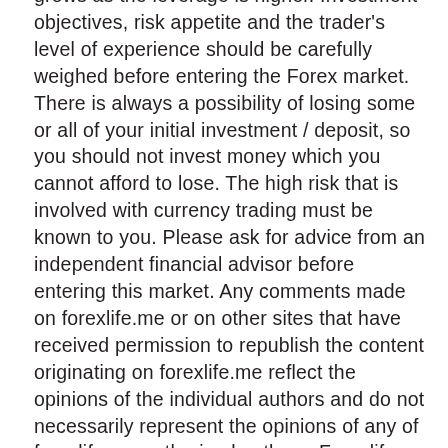grows as the leverage is higher. Investment objectives, risk appetite and the trader's level of experience should be carefully weighed before entering the Forex market. There is always a possibility of losing some or all of your initial investment / deposit, so you should not invest money which you cannot afford to lose. The high risk that is involved with currency trading must be known to you. Please ask for advice from an independent financial advisor before entering this market. Any comments made on forexlife.me or on other sites that have received permission to republish the content originating on forexlife.me reflect the opinions of the individual authors and do not necessarily represent the opinions of any of forexlife.me authorized authors. Forexlife.me has not verified the accuracy or basis-in-fact of any claim or statement made by any independent author: Omissions and errors may occur. Any news, analysis, opinion, price